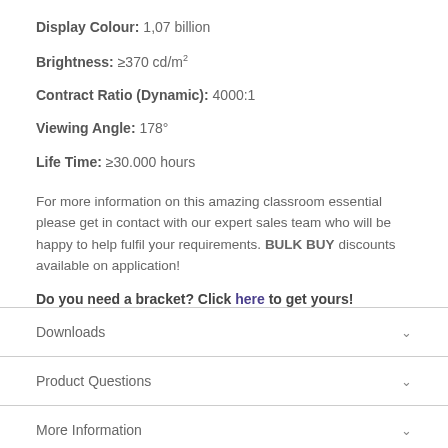Display Colour: 1,07 billion
Brightness: ≥370 cd/m²
Contract Ratio (Dynamic): 4000:1
Viewing Angle: 178°
Life Time: ≥30.000 hours
For more information on this amazing classroom essential please get in contact with our expert sales team who will be happy to help fulfil your requirements. BULK BUY discounts available on application!
Do you need a bracket? Click here to get yours!
Downloads
Product Questions
More Information